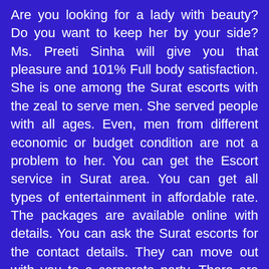Are you looking for a lady with beauty? Do you want to keep her by your side? Ms. Preeti Sinha will give you that pleasure and 101% Full body satisfaction. She is one among the Surat escorts with the zeal to serve men. She served people with all ages. Even, men from different economic or budget condition are not a problem to her. You can get the Escort service in Surat area. You can get all types of entertainment in affordable rate. The packages are available online with details. You can ask the Surat escorts for the contact details. They can move out with you to a corporate party. There are scope for meeting in hotel. You get full enjoyment with the beautiful escort in Surat. If you want to check their vital